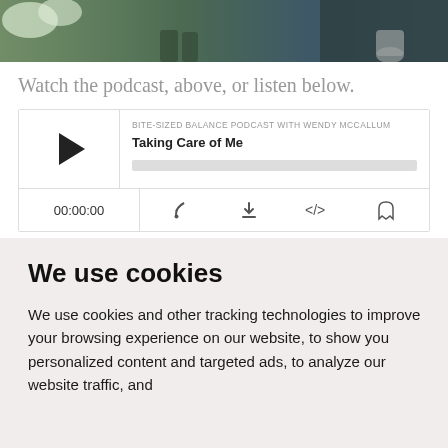[Figure (photo): Partial photo of a person sitting outdoors near greenery and large metal containers, with visible legs and feet on steps]
Watch the podcast, above, or listen below.
[Figure (screenshot): Podcast player widget for 'Bite-Sized Balance Podcast with Wendy McCallum' episode 'Taking Care of Me', showing play button, progress bar, time 00:00:00, and control icons]
In this short podcast episode, I provide listeners
We use cookies
We use cookies and other tracking technologies to improve your browsing experience on our website, to show you personalized content and targeted ads, to analyze our website traffic, and